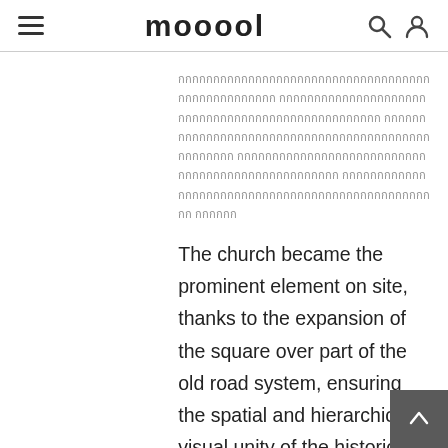mooool
กกกกกกกกกกกกกกกกกกกกกกกกกกกกกกกกกกกกกกกกกกกกกกกกกกกกกกกกกกกกกกกกกกกกกกกกกกกกกกกกกกกกกกกกกกกกกกกกกกกกกกกกกกกกกกกกกกกกกกกกกกกกกกกกกกกกกกกกกกกกกกกกกกกกกกกกกกกกกกกกกกกกกกกกกกกกกกกกกกกกกกกกกกกกกกกกกกกกกกกกกกกกกกกกกกกกกกกกกกกกกกกกกกกกกกกกกกกกกกกกกกกกกกกกกกกกกกกกกกกกกกกกกก
The church became the prominent element on site, thanks to the expansion of the square over part of the old road system, ensuring the spatial and hierarchical visual unity of the historic set. The inclusion of a contemporary building to shelter